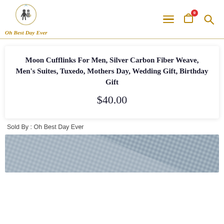[Figure (logo): Oh Best Day Ever logo — circular illustration of a wedding couple with a ring, golden text below reading 'Oh Best Day Ever']
Moon Cufflinks For Men, Silver Carbon Fiber Weave, Men's Suites, Tuxedo, Mothers Day, Wedding Gift, Birthday Gift
$40.00
Sold By : Oh Best Day Ever
[Figure (photo): Close-up photo of silver carbon fiber weave fabric texture, grey tones]